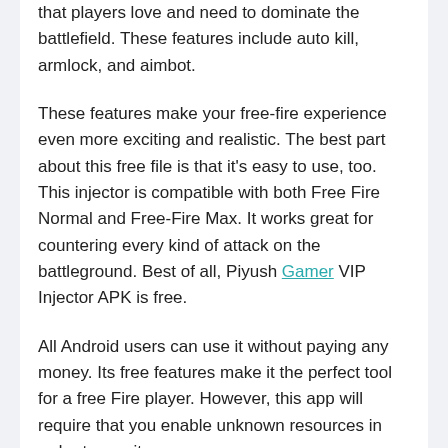that players love and need to dominate the battlefield. These features include auto kill, armlock, and aimbot.
These features make your free-fire experience even more exciting and realistic. The best part about this free file is that it's easy to use, too. This injector is compatible with both Free Fire Normal and Free-Fire Max. It works great for countering every kind of attack on the battleground. Best of all, Piyush Gamer VIP Injector APK is free.
All Android users can use it without paying any money. Its free features make it the perfect tool for a free Fire player. However, this app will require that you enable unknown resources in order to use it.
It's an anti-ban application